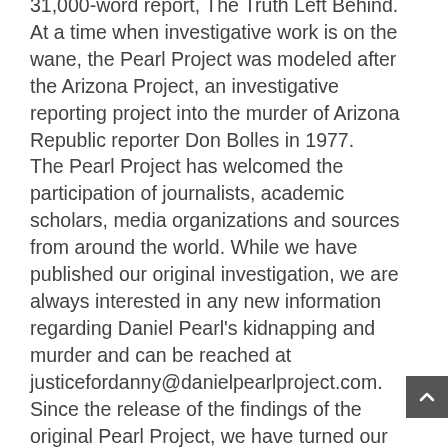31,000-word report, The Truth Left Behind. At a time when investigative work is on the wane, the Pearl Project was modeled after the Arizona Project, an investigative reporting project into the murder of Arizona Republic reporter Don Bolles in 1977. The Pearl Project has welcomed the participation of journalists, academic scholars, media organizations and sources from around the world. While we have published our original investigation, we are always interested in any new information regarding Daniel Pearl's kidnapping and murder and can be reached at justicefordanny@danielpearlproject.com. Since the release of the findings of the original Pearl Project, we have turned our attention to new projects, and we have acted as advisers to other educators who are pursuing investigations at their universities. There are faculty-student investigative reporting projects emerging at universities around